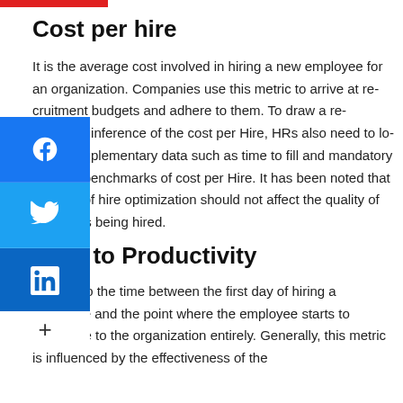Cost per hire
It is the average cost involved in hiring a new employee for an organization. Companies use this metric to arrive at recruitment budgets and adhere to them. To draw a reasonable inference of the cost per Hire, HRs also need to look at complementary data such as time to fill and mandatory industry benchmarks of cost per Hire. It has been noted that the cost of hire optimization should not affect the quality of resources being hired.
Time to Productivity
It refers to the time between the first day of hiring a candidate and the point where the employee starts to contribute to the organization entirely. Generally, this metric is influenced by the effectiveness of the